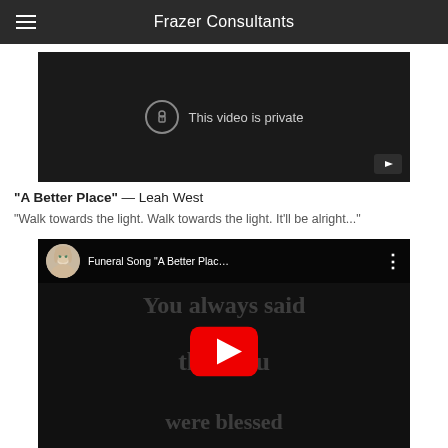Frazer Consultants
[Figure (screenshot): YouTube video player showing 'This video is private' message with a lock icon and YouTube button]
“A Better Place” — Leah West
“Walk towards the light. Walk towards the light. It’ll be alright...”
[Figure (screenshot): YouTube video thumbnail for 'Funeral Song A Better Plac...' with background text 'You always said that you were blessed', a red play button, and a woman's avatar in the top bar]